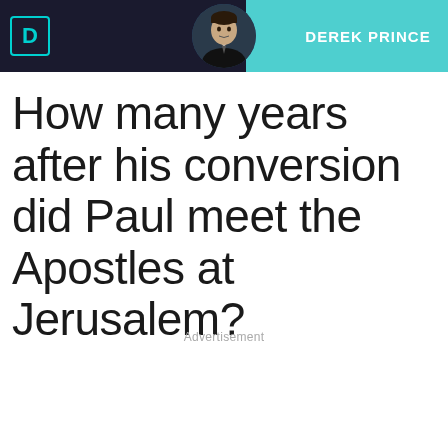[Figure (illustration): Header banner with dark left section containing a logo (D symbol in teal border) and a circular portrait of a man in a suit, and a teal right section with the name DEREK PRINCE in white bold text]
How many years after his conversion did Paul meet the Apostles at Jerusalem?
Advertisement